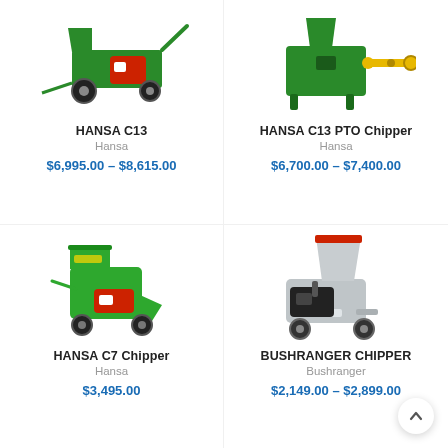[Figure (photo): HANSA C13 wood chipper with green frame and red Honda engine on wheels]
HANSA C13
Hansa
$6,995.00 – $8,615.00
[Figure (photo): HANSA C13 PTO Chipper with green frame and yellow PTO shaft attachment]
HANSA C13 PTO Chipper
Hansa
$6,700.00 – $7,400.00
[Figure (photo): HANSA C7 Chipper, compact green chipper with red Honda engine and two wheels]
HANSA C7 Chipper
Hansa
$3,495.00
[Figure (photo): Bushranger Chipper, grey chipper with engine and wheels]
BUSHRANGER CHIPPER
Bushranger
$2,149.00 – $2,899.00